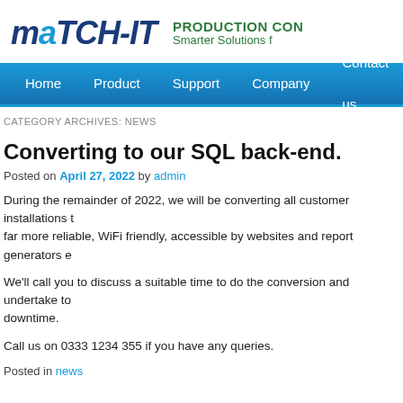match-IT PRODUCTION CON Smarter Solutions f
Home | Product | Support | Company | Contact us
CATEGORY ARCHIVES: NEWS
Converting to our SQL back-end.
Posted on April 27, 2022 by admin
During the remainder of 2022, we will be converting all customer installations to far more reliable, WiFi friendly, accessible by websites and report generators e
We'll call you to discuss a suitable time to do the conversion and undertake to downtime.
Call us on 0333 1234 355 if you have any queries.
Posted in news